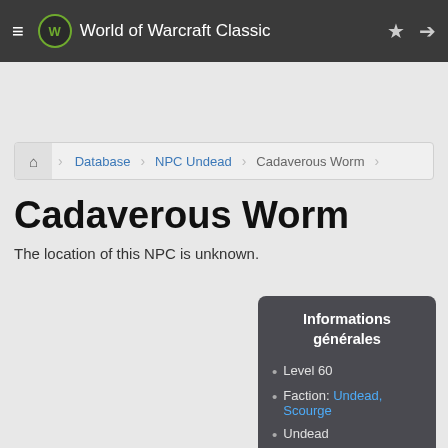World of Warcraft Classic
Database > NPC Undead > Cadaverous Worm
Cadaverous Worm
The location of this NPC is unknown.
Informations générales
• Level 60
• Faction: Undead, Scourge
• Undead
• Life: 31